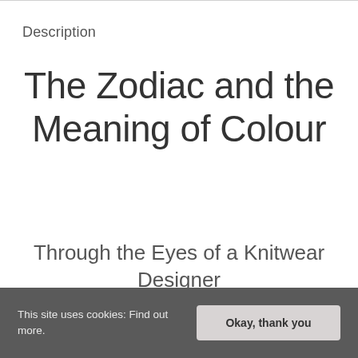Description
The Zodiac and the Meaning of Colour
Through the Eyes of a Knitwear Designer
This site uses cookies: Find out more. Okay, thank you